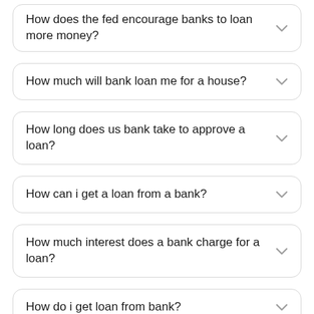How does the fed encourage banks to loan more money?
How much will bank loan me for a house?
How long does us bank take to approve a loan?
How can i get a loan from a bank?
How much interest does a bank charge for a loan?
How do i get loan from bank?